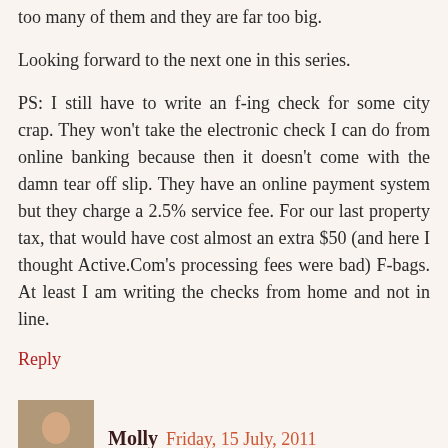too many of them and they are far too big.
Looking forward to the next one in this series.
PS: I still have to write an f-ing check for some city crap. They won't take the electronic check I can do from online banking because then it doesn't come with the damn tear off slip. They have an online payment system but they charge a 2.5% service fee. For our last property tax, that would have cost almost an extra $50 (and here I thought Active.Com's processing fees were bad) F-bags. At least I am writing the checks from home and not in line.
Reply
Molly Friday, 15 July, 2011
I'm proud that I've been a Mom for seven years, and I still have my Jeep : )
They keep score at my son's soccer games, and we always tell him who won. And I hate to say it, but I'm That Parent who yells at him to stop looking up at the sky and